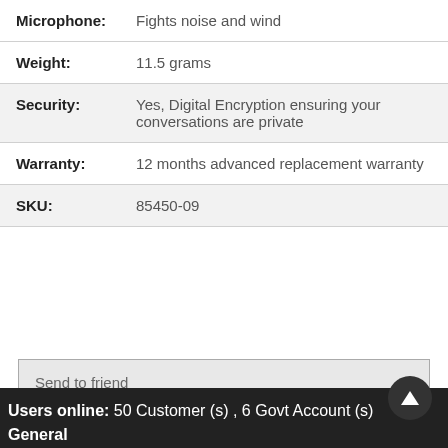| Attribute | Value |
| --- | --- |
| Microphone: | Fights noise and wind |
| Weight: | 11.5 grams |
| Security: | Yes, Digital Encryption ensuring your conversations are private |
| Warranty: | 12 months advanced replacement warranty |
| SKU: | 85450-09 |
Send to friend
Reviews
Users online: 50 Customer (s) , 6 Govt Account (s) General